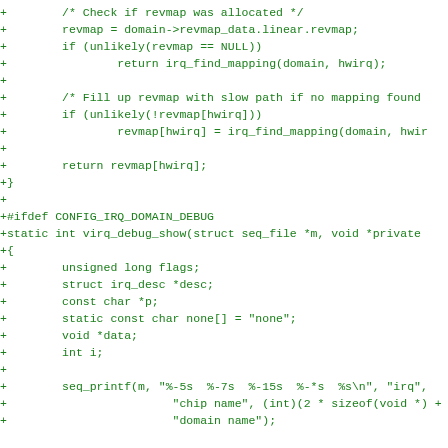+        /* Check if revmap was allocated */
+        revmap = domain->revmap_data.linear.revmap;
+        if (unlikely(revmap == NULL))
+                return irq_find_mapping(domain, hwirq);
+
+        /* Fill up revmap with slow path if no mapping found
+        if (unlikely(!revmap[hwirq]))
+                revmap[hwirq] = irq_find_mapping(domain, hwir
+
+        return revmap[hwirq];
+}
+
+#ifdef CONFIG_IRQ_DOMAIN_DEBUG
+static int virq_debug_show(struct seq_file *m, void *private
+{
+        unsigned long flags;
+        struct irq_desc *desc;
+        const char *p;
+        static const char none[] = "none";
+        void *data;
+        int i;
+
+        seq_printf(m, "%-5s  %-7s  %-15s  %-*s  %s\n", "irq",
+                        "chip name", (int)(2 * sizeof(void *) +
+                        "domain name");